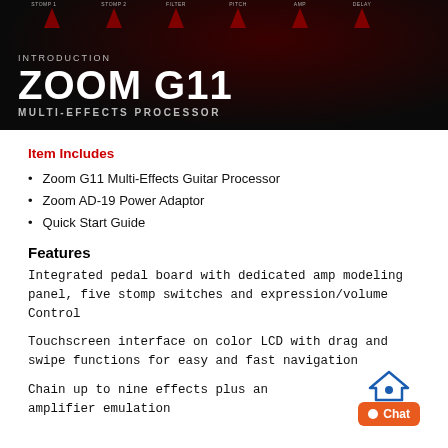[Figure (photo): Hero image of Zoom G11 Multi-Effects Processor device with dark background, red knobs/controls visible at top, showing INTRODUCTION / ZOOM G11 / MULTI-EFFECTS PROCESSOR text overlay]
Item Includes
Zoom G11 Multi-Effects Guitar Processor
Zoom AD-19 Power Adaptor
Quick Start Guide
Features
Integrated pedal board with dedicated amp modeling panel, five stomp switches and expression/volume Control
Touchscreen interface on color LCD with drag and swipe functions for easy and fast navigation
Chain up to nine effects plus an amplifier emulation